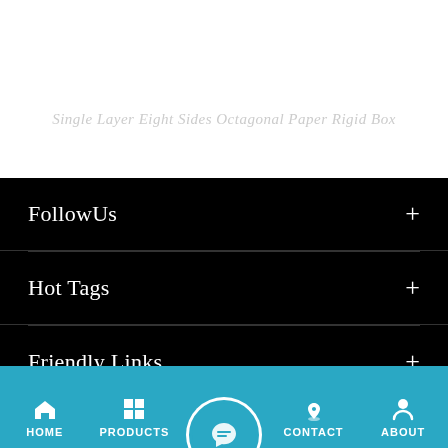Single Layer Eight Sides Octagonal Paper Rigid Box
FollowUs
Hot Tags
Friendly Links
HOME  PRODUCTS  CONTACT  ABOUT